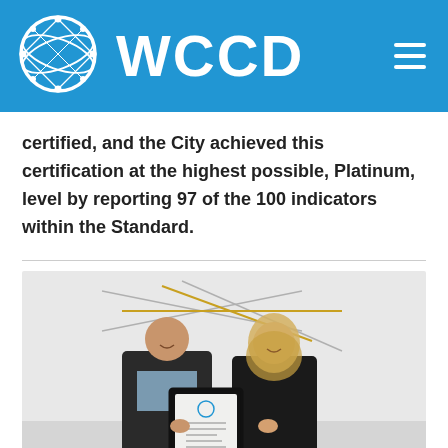WCCD
certified, and the City achieved this certification at the highest possible, Platinum, level by reporting 97 of the 100 indicators within the Standard.
[Figure (photo): Two people standing together holding a framed certificate of registration. A man on the left in a dark blazer and a woman on the right with blonde hair in a dark outfit. Abstract geometric wire sculpture visible in background on a white wall.]